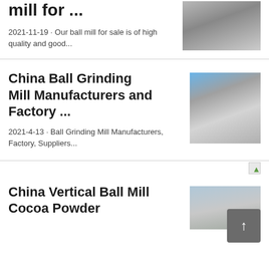mill for ...
2021-11-19 · Our ball mill for sale is of high quality and good...
[Figure (photo): Quarry or mining site with stone aggregate piles and machinery]
China Ball Grinding Mill Manufacturers and Factory ...
2021-4-13 · Ball Grinding Mill Manufacturers, Factory, Suppliers...
[Figure (photo): Mining quarry site with crushing equipment and rock face]
[Figure (other): Broken image icon placeholder]
China Vertical Ball Mill Cocoa Powder
[Figure (photo): Outdoor industrial or quarry site with conveyor or equipment]